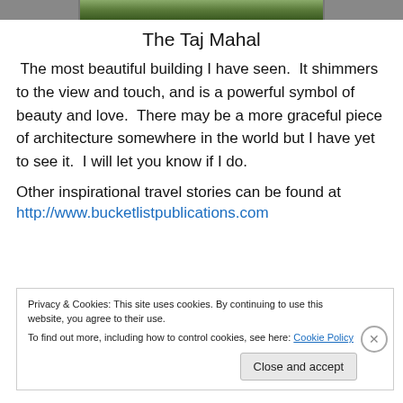[Figure (photo): Partial view of a landscape photo at the top of the page, appears to be a garden path or monument (Taj Mahal area)]
The Taj Mahal
The most beautiful building I have seen.  It shimmers to the view and touch, and is a powerful symbol of beauty and love.  There may be a more graceful piece of architecture somewhere in the world but I have yet to see it.  I will let you know if I do.
Other inspirational travel stories can be found at
http://www.bucketlistpublications.com
Privacy & Cookies: This site uses cookies. By continuing to use this website, you agree to their use.
To find out more, including how to control cookies, see here: Cookie Policy
Close and accept